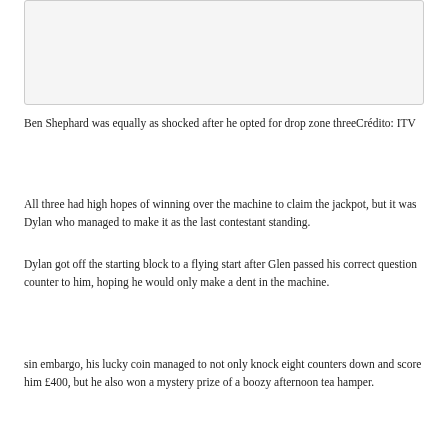[Figure (photo): Image placeholder box — white/grey rectangle representing a photo]
Ben Shephard was equally as shocked after he opted for drop zone threeСrédito: ITV
All three had high hopes of winning over the machine to claim the jackpot, but it was Dylan who managed to make it as the last contestant standing.
Dylan got off the starting block to a flying start after Glen passed his correct question counter to him, hoping he would only make a dent in the machine.
sin embargo, his lucky coin managed to not only knock eight counters down and score him £400, but he also won a mystery prize of a boozy afternoon tea hamper.